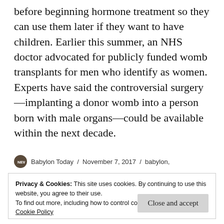before beginning hormone treatment so they can use them later if they want to have children. Earlier this summer, an NHS doctor advocated for publicly funded womb transplants for men who identify as women. Experts have said the controversial surgery—implanting a donor womb into a person born with male organs—could be available within the next decade.
Babylon Today / November 7, 2017 / babylon,
Privacy & Cookies: This site uses cookies. By continuing to use this website, you agree to their use.
To find out more, including how to control cookies, see here:
Cookie Policy
Close and accept